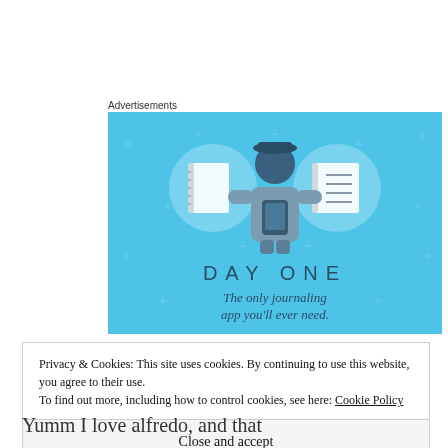Advertisements
[Figure (illustration): Day One journaling app advertisement. Blue background with illustrated icons of notebooks and a person using a phone. Text reads 'DAY ONE' and 'The only journaling app you'll ever need.']
Privacy & Cookies: This site uses cookies. By continuing to use this website, you agree to their use.
To find out more, including how to control cookies, see here: Cookie Policy
Close and accept
Yumm I love alfredo, and that